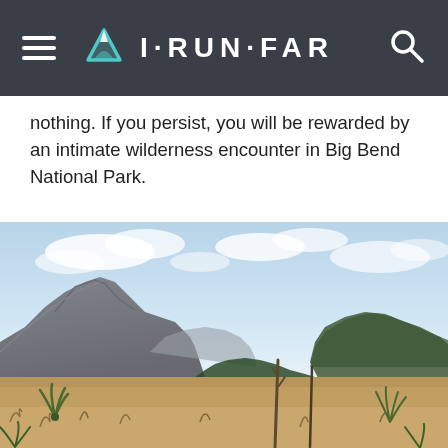I·RUN·FAR
nothing. If you persist, you will be rewarded by an intimate wilderness encounter in Big Bend National Park.
[Figure (photo): Landscape photo of Big Bend National Park showing rugged mountain terrain with jagged rocky peaks on the left, green tree-covered hills on the right, dry grassland with desert plants in the foreground, and a partly cloudy blue sky above.]